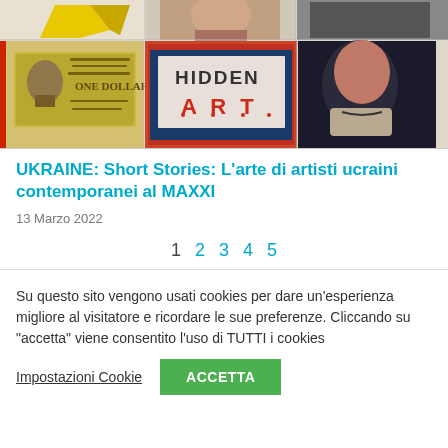[Figure (photo): Grid of artwork images: top row shows yellow geometric shape, portrait of a man, and dark artwork. Second row shows a US dollar bill collage, a colorful 'HIDDEN ART' mixed media piece, and a blurred face portrait.]
UKRAINE: Short Stories: L'arte di artisti ucraini contemporanei al MAXXI
13 Marzo 2022
1 2 3 4 5
Su questo sito vengono usati cookies per dare un'esperienza migliore al visitatore e ricordare le sue preferenze. Cliccando su "accetta" viene consentito l'uso di TUTTI i cookies
Impostazioni Cookie  ACCETTA